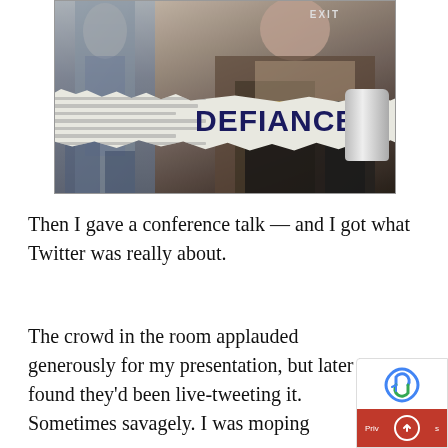[Figure (illustration): Book cover for 'DEFIANCE' showing two figures in an embrace/confrontation scene with a torn newspaper effect revealing the title word DEFIANCE in bold navy letters, with a gray cylinder on the right side and an EXIT sign visible in background]
Then I gave a conference talk — and I got what Twitter was really about.
The crowd in the room applauded generously for my presentation, but later I found they'd been live-tweeting it. Sometimes savagely. I was moping